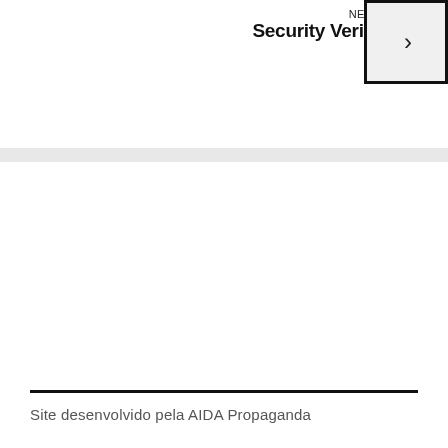NEXT
Security Verify
Site desenvolvido pela AIDA Propaganda